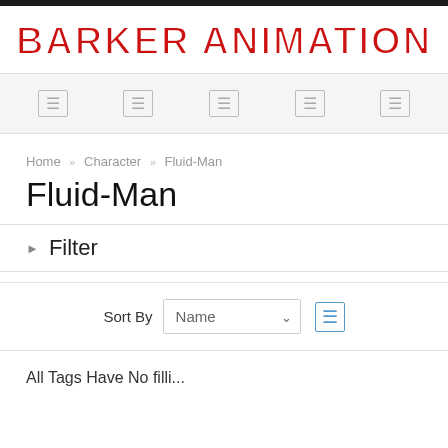Barker Animation
navigation icons
Home › Character › Fluid-Man
Fluid-Man
Filter
Sort By  Name  ▾  ⊞
All Tags Have No filli...